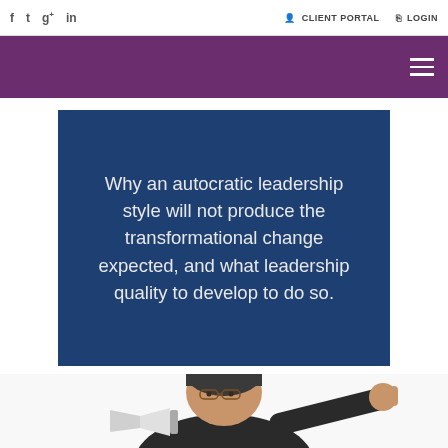f  t  g+  in    CLIENT PORTAL  LOGIN
Why an autocratic leadership style will not produce the transformational change expected, and what leadership quality to develop to do so.
[Figure (photo): A man shouting through a megaphone and pointing, photographed from a low angle against a white background.]